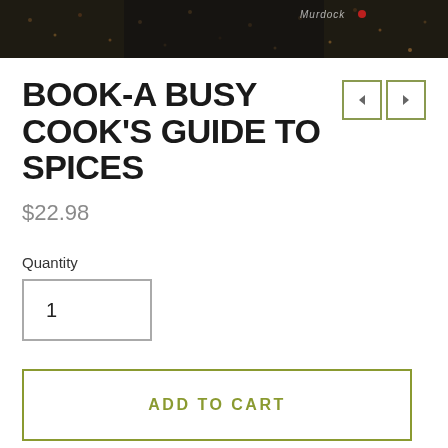[Figure (photo): Top portion of a book cover for 'A Busy Cook's Guide to Spices' by Murdock, showing dark spice background with scattered spice seeds/peppercorns]
BOOK-A BUSY COOK'S GUIDE TO SPICES
$22.98
Quantity
1
ADD TO CART